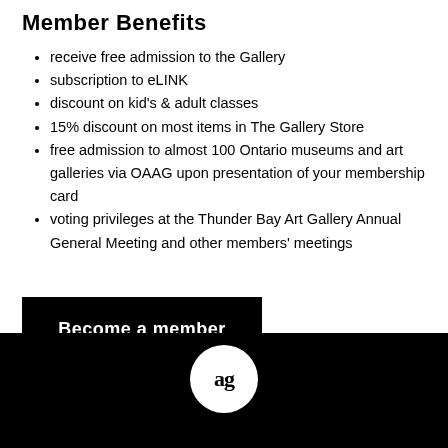Member Benefits
receive free admission to the Gallery
subscription to eLINK
discount on kid's & adult classes
15% discount on most items in The Gallery Store
free admission to almost 100 Ontario museums and art galleries via OAAG upon presentation of your membership card
voting privileges at the Thunder Bay Art Gallery Annual General Meeting and other members' meetings
Become a member
[Figure (logo): Thunder Bay Art Gallery logo — white circle with 'ag' text on black footer bar]